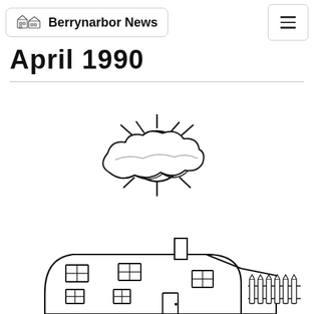Berrynarbor News
April 1990
[Figure (illustration): Child's drawing of a smiling sun with rays, partially obscured by a cloud]
[Figure (illustration): Child's drawing of a house with windows, a door, chimney, and a fence to the right]